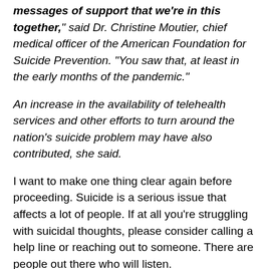messages of support that we're in this together," said Dr. Christine Moutier, chief medical officer of the American Foundation for Suicide Prevention. "You saw that, at least in the early months of the pandemic."
An increase in the availability of telehealth services and other efforts to turn around the nation's suicide problem may have also contributed, she said.
I want to make one thing clear again before proceeding. Suicide is a serious issue that affects a lot of people. If at all you're struggling with suicidal thoughts, please consider calling a help line or reaching out to someone. There are people out there who will listen.
Having said that, I also want to note that this news genuinely surprised me. Even as someone who tries to